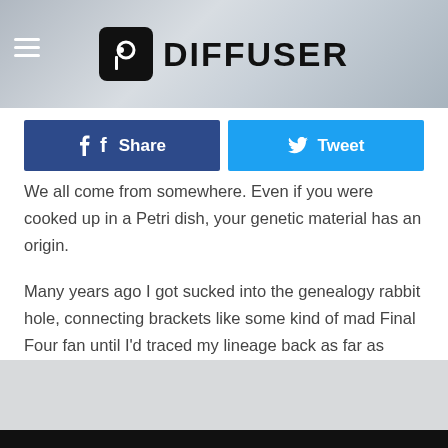DIFFUSER
Share
Tweet
We all come from somewhere. Even if you were cooked up in a Petri dish, your genetic material has an origin.
Many years ago I got sucked into the genealogy rabbit hole, connecting brackets like some kind of mad Final Four fan until I'd traced my lineage back as far as some Swede now 600 years gone. By the time I came to my senses, I had thousands of names laid out in front of me.
[Figure (photo): Gray placeholder image area at bottom of page]